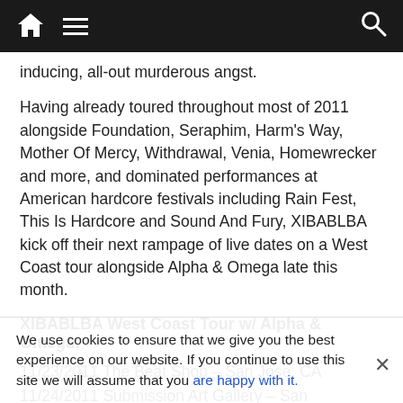Navigation bar with home icon, hamburger menu, and search icon
inducing, all-out murderous angst.
Having already toured throughout most of 2011 alongside Foundation, Seraphim, Harm's Way, Mother Of Mercy, Withdrawal, Venia, Homewrecker and more, and dominated performances at American hardcore festivals including Rain Fest, This Is Hardcore and Sound And Fury, XIBABLBA kick off their next rampage of live dates on a West Coast tour alongside Alpha & Omega late this month.
XIBABLBA West Coast Tour w/ Alpha & Omega:
11/23/2011  The Beat Shop – San Jose, CA
11/24/2011  Submission Art Gallery – San Francisco, CA
11/25/2011  Minnehaha Grounds – Vancouver, WA
11/26/2011  West Seattle Grange Hall – Seattle, WA
11/27/2011  The Red Room – Tacoma, WA
11/28/2011  The Shredder – Boise, ID
We use cookies to ensure that we give you the best experience on our website. If you continue to use this site we will assume that you are happy with it.